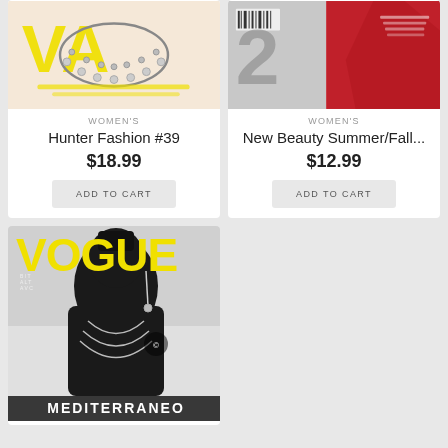[Figure (photo): Hunter Fashion #39 magazine cover showing woman with jeweled necklace, yellow branding]
WOMEN'S
Hunter Fashion #39
$18.99
ADD TO CART
[Figure (photo): New Beauty Summer/Fall magazine cover showing woman in red dress]
WOMEN'S
New Beauty Summer/Fall...
$12.99
ADD TO CART
[Figure (photo): Vogue MEDITERRANEO issue cover, black and white photo of woman with braids and jewelry, yellow Vogue logo]